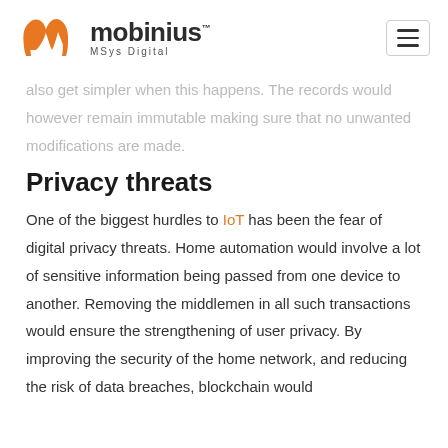mobinius MSys Digital
also get simpler when this happens. The records would however remain immutable making sure that no unwanted modifications are made.
Privacy threats
One of the biggest hurdles to IoT has been the fear of digital privacy threats. Home automation would involve a lot of sensitive information being passed from one device to another. Removing the middlemen in all such transactions would ensure the strengthening of user privacy. By improving the security of the home network, and reducing the risk of data breaches, blockchain would